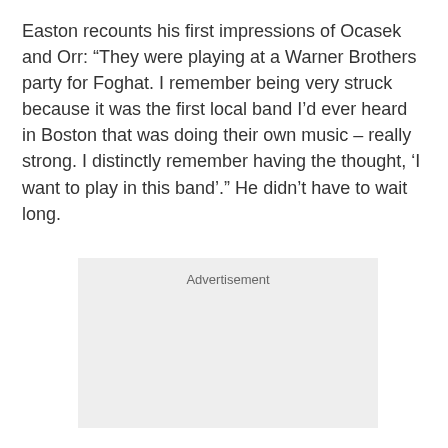Easton recounts his first impressions of Ocasek and Orr: “They were playing at a Warner Brothers party for Foghat. I remember being very struck because it was the first local band I’d ever heard in Boston that was doing their own music – really strong. I distinctly remember having the thought, ‘I want to play in this band’.” He didn’t have to wait long.
[Figure (other): Advertisement placeholder box with gray background and 'Advertisement' label at top center]